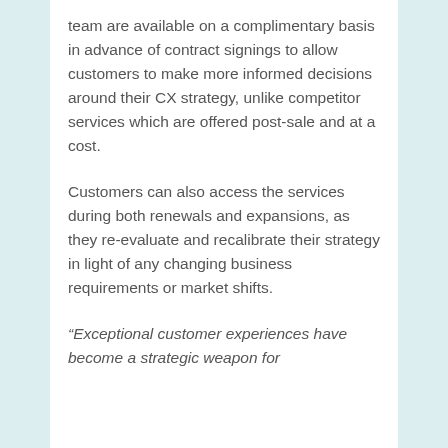team are available on a complimentary basis in advance of contract signings to allow customers to make more informed decisions around their CX strategy, unlike competitor services which are offered post-sale and at a cost.
Customers can also access the services during both renewals and expansions, as they re-evaluate and recalibrate their strategy in light of any changing business requirements or market shifts.
“Exceptional customer experiences have become a strategic weapon for